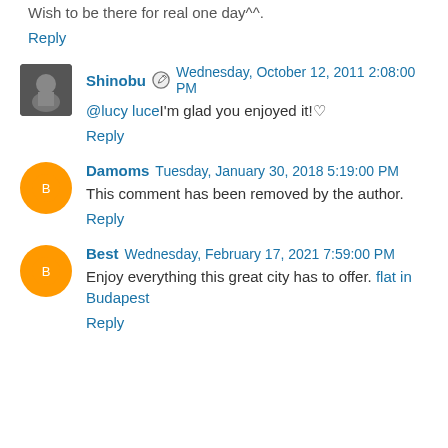Wish to be there for real one day^^.
Reply
Shinobu  Wednesday, October 12, 2011 2:08:00 PM
@lucy luceI'm glad you enjoyed it!♡
Reply
Damoms  Tuesday, January 30, 2018 5:19:00 PM
This comment has been removed by the author.
Reply
Best  Wednesday, February 17, 2021 7:59:00 PM
Enjoy everything this great city has to offer. flat in Budapest
Reply